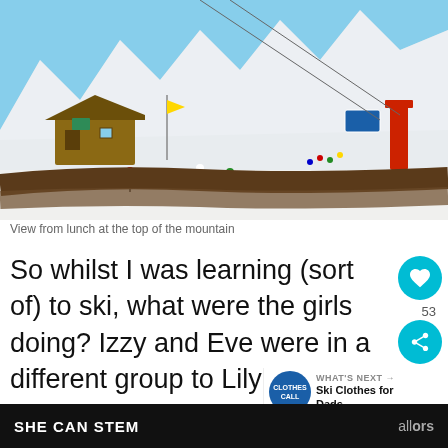[Figure (photo): View from lunch at the top of a ski mountain. Snow-covered peaks under a bright blue sky, with a wooden mountain lodge/restaurant visible on the left, ski lifts in the background, and several skiers on the piste. A wooden barrier is visible in the foreground.]
View from lunch at the top of the mountain
So whilst I was learning (sort of) to ski, what were the girls doing? Izzy and Eve were in a different group to Lily as they are 3 and they needed to be 4 to go into the group for proper lessons.  Izzy and Eve seemed to
SHE CAN STEM